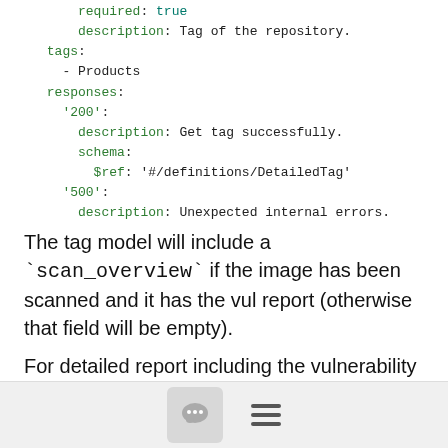required: true
description: Tag of the repository.
tags:
  - Products
responses:
  '200':
    description: Get tag successfully.
    schema:
      $ref: '#/definitions/DetailedTag'
  '500':
    description: Unexpected internal errors.
The tag model will include a `scan_overview` if the image has been scanned and it has the vul report (otherwise that field will be empty).
For detailed report including the vulnerability item list, you can use the following API:
'/repositories/{repo_name}/tags/{tag}/scan':
[Figure (screenshot): Bottom navigation bar with a chat bubble icon button and a hamburger menu icon]